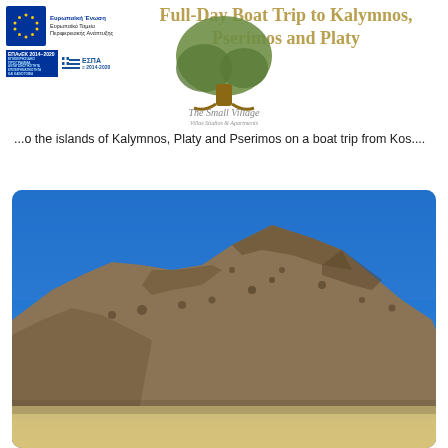Ευρωπαϊκή Ένωση Ευρωπαϊκό Ταμείο Περιφερειακής Ανάπτυξης ΕΠΑνΕΚ 2014-2020 ΕΣΠΑ 2014-2020
Full-Day Boat Trip to Kalymnos, Pserimos and Platy
[Figure (logo): The Small Village logo with olive tree illustration and text 'The Small Village Villas Studios & Apartments']
...o the islands of Kalymnos, Platy and Pserimos on a boat trip from Kos....
[Figure (photo): Photograph of a rocky, arid mountainous landscape under a clear deep blue sky, likely on a Greek island.]